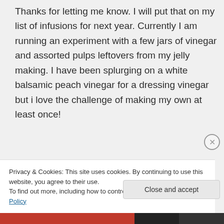Thanks for letting me know. I will put that on my list of infusions for next year. Currently I am running an experiment with a few jars of vinegar and assorted pulps leftovers from my jelly making. I have been splurging on a white balsamic peach vinegar for a dressing vinegar but i love the challenge of making my own at least once!
Privacy & Cookies: This site uses cookies. By continuing to use this website, you agree to their use. To find out more, including how to control cookies, see here: Cookie Policy
Close and accept